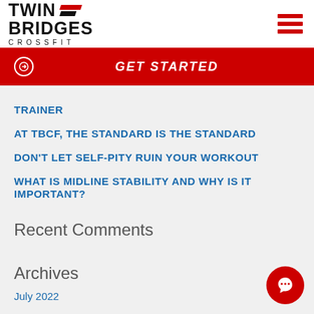TWIN BRIDGES CROSSFIT
GET STARTED
TRAINER
AT TBCF, THE STANDARD IS THE STANDARD
DON'T LET SELF-PITY RUIN YOUR WORKOUT
WHAT IS MIDLINE STABILITY AND WHY IS IT IMPORTANT?
Recent Comments
Archives
July 2022